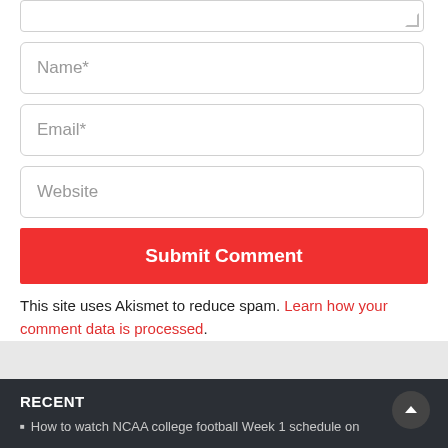[Figure (screenshot): Partial textarea input field at top of page (clipped)]
Name*
Email*
Website
Submit Comment
This site uses Akismet to reduce spam. Learn how your comment data is processed.
RECENT
How to watch NCAA college football Week 1 schedule on